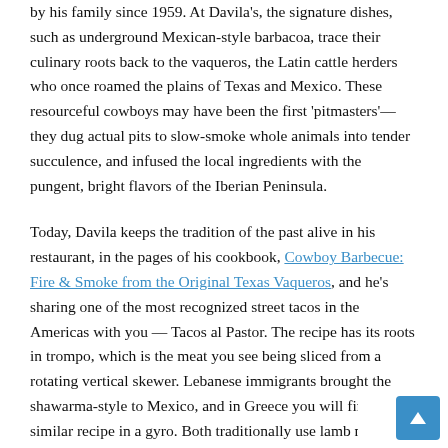by his family since 1959. At Davila's, the signature dishes, such as underground Mexican-style barbacoa, trace their culinary roots back to the vaqueros, the Latin cattle herders who once roamed the plains of Texas and Mexico. These resourceful cowboys may have been the first 'pitmasters'— they dug actual pits to slow-smoke whole animals into tender succulence, and infused the local ingredients with the pungent, bright flavors of the Iberian Peninsula.
Today, Davila keeps the tradition of the past alive in his restaurant, in the pages of his cookbook, Cowboy Barbecue: Fire & Smoke from the Original Texas Vaqueros, and he's sharing one of the most recognized street tacos in the Americas with you — Tacos al Pastor. The recipe has its roots in trompo, which is the meat you see being sliced from a rotating vertical skewer. Lebanese immigrants brought the shawarma-style to Mexico, and in Greece you will find a similar recipe in a gyro. Both traditionally use lamb meat, hence the name, but in Mexico and South America al pastor is made with juicy pork.